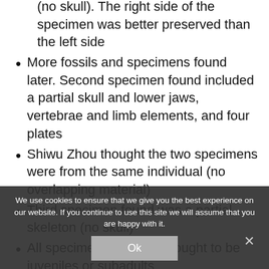(no skull). The right side of the specimen was better preserved than the left side
More fossils and specimens found later. Second specimen found included a partial skull and lower jaws, vertebrae and limb elements, and four plates
Shiwu Zhou thought the two specimens were from the same individual (no overlapping material)
Third specimen found was a partial skeleton (no skull)
All specimens are now thought to be juveniles or subadults
Second species named in 1999 Chialingosaurus... kuangyuanensis, but no description and... as a nomen nudum
Some debate o...idity of Chialingosaurus. Peter Galton said in 1990
We use cookies to ensure that we give you the best experience on our website. If you continue to use this site we will assume that you are happy with it.